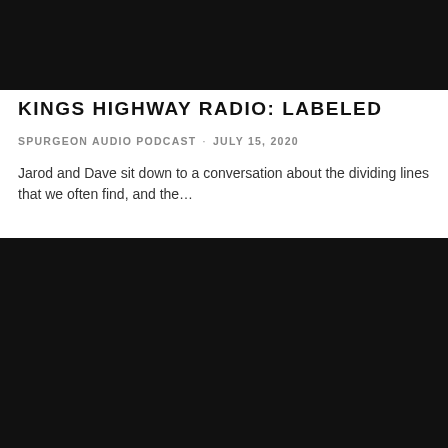[Figure (photo): Dark/black image at the top of the page, likely a podcast thumbnail or header image]
KINGS HIGHWAY RADIO: LABELED
SPURGEON AUDIO PODCAST · JULY 15, 2020
Jarod and Dave sit down to a conversation about the dividing lines that we often find, and the…
[Figure (photo): Dark/black image at the bottom of the page, likely a podcast thumbnail or media player]